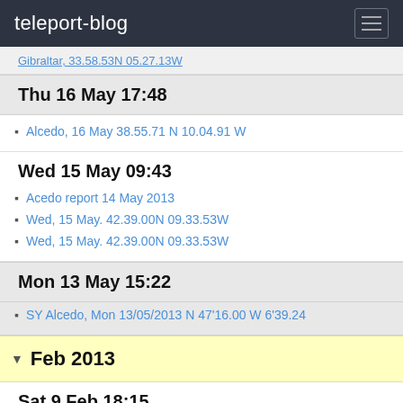teleport-blog
Gibraltar, 33.58.53N 05.27.13W
Thu 16 May 17:48
Alcedo, 16 May 38.55.71 N 10.04.91 W
Wed 15 May 09:43
Acedo report 14 May 2013
Wed, 15 May. 42.39.00N 09.33.53W
Wed, 15 May. 42.39.00N 09.33.53W
Mon 13 May 15:22
SY Alcedo, Mon 13/05/2013 N 47'16.00 W 6'39.24
Feb 2013
Sat 9 Feb 18:15
test